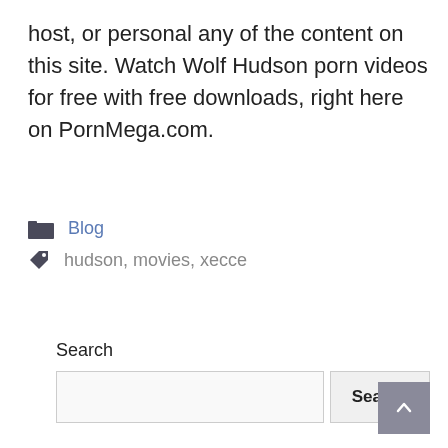host, or personal any of the content on this site. Watch Wolf Hudson porn videos for free with free downloads, right here on PornMega.com.
Blog
hudson, movies, xecce
Search